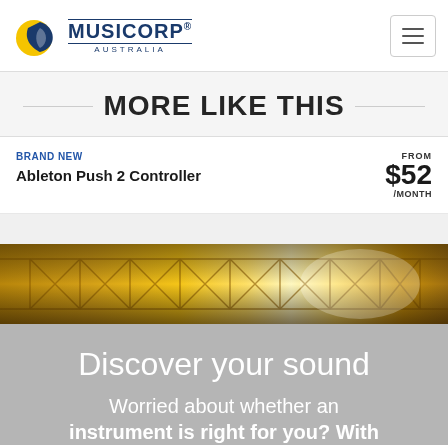MUSICORP AUSTRALIA
MORE LIKE THIS
BRAND NEW
Ableton Push 2 Controller
FROM $52 /MONTH
[Figure (photo): Golden stage lighting truss with warm glowing metallic light]
Discover your sound
Worried about whether an instrument is right for you? With